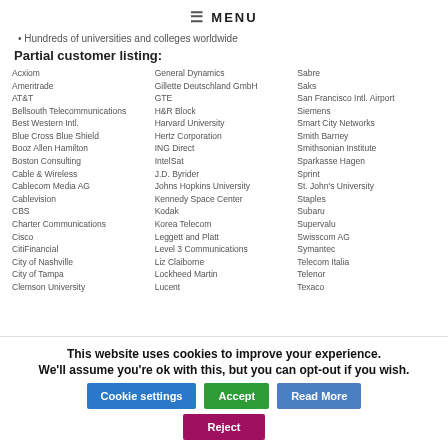≡ MENU
Hundreds of universities and colleges worldwide
Partial customer listing:
Acxiom, Ameritrade, AT&T, Bellsouth Telecommunications, Best Western Intl., Blue Cross Blue Shield, Booz Allen Hamilton, Boston Consulting, Cable & Wireless, Cablecom Media AG, Cablevision, CBS, Charter Communications, Cisco, CitiFinancial, City of Nashville, City of Tampa, Clemson University | General Dynamics, Gillette Deutschland GmbH, GTE, H&R Block, Harvard University, Hertz Corporation, ING Direct, IntelSat, J.D. Byrider, Johns Hopkins University, Kennedy Space Center, Kodak, Korea Telecom, Leggett and Platt, Level 3 Communications, Liz Claiborne, Lockheed Martin, Lucent | Sabre, Saks, San Francisco Intl. Airport, Siemens, Smart City Networks, Smith Barney, Smithsonian Institute, Sparkasse Hagen, Sprint, St. John's University, Staples, Subaru, Supervalu, Swisscom AG, Symantec, Telecom Italia, Telenor, Texaco
This website uses cookies to improve your experience. We'll assume you're ok with this, but you can opt-out if you wish.
Cookie settings | Accept | Read More | Reject